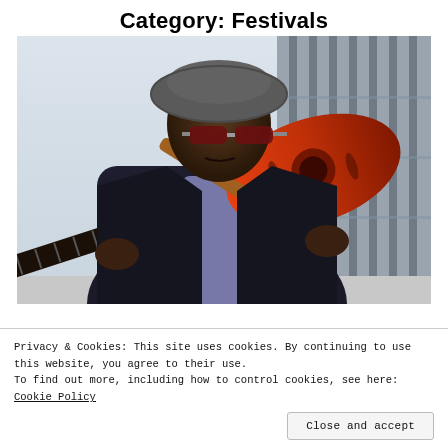Category: Festivals
[Figure (photo): An elderly man wearing a flat cap and sunglasses, dressed in a dark blazer over a purple shirt, holding a red/orange electric guitar with a brown strap, standing outdoors in front of a building with vertical bars/columns.]
Privacy & Cookies: This site uses cookies. By continuing to use this website, you agree to their use.
To find out more, including how to control cookies, see here: Cookie Policy
Close and accept